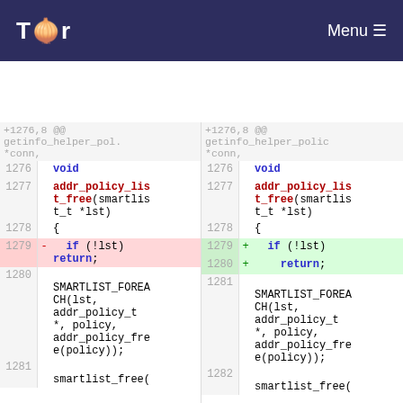Tor | Menu
[Figure (screenshot): Side-by-side diff view of C source code showing a change to addr_policy_list_free function. Left pane shows deleted lines (line 1279: if (!lst) return; on same line). Right pane shows added lines (line 1279: if (!lst), line 1280: return; on separate lines). Both panes show context lines 1276-1281 with void, addr_policy_list_free, SMARTLIST_FOREACH, smartlist_free.]